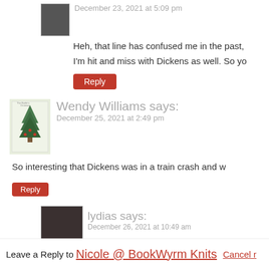December 23, 2021 at 5:09 pm
Heh, that line has confused me in the past,
I'm hit and miss with Dickens as well. So yo
Reply
Wendy Williams says:
December 25, 2021 at 2:49 pm
So interesting that Dickens was in a train crash and w
Reply
lydias says:
December 26, 2021 at 10:49 am
For sure! 🙂
Reply
Leave a Reply to Nicole @ BookWyrm Knits Cancel r